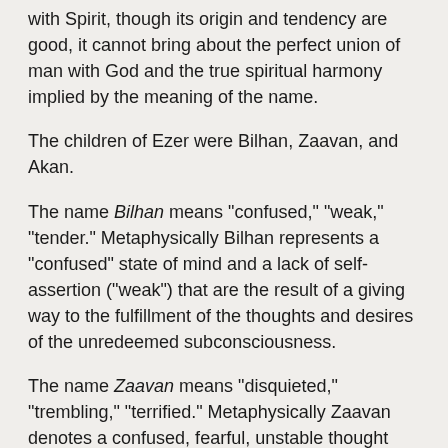with Spirit, though its origin and tendency are good, it cannot bring about the perfect union of man with God and the true spiritual harmony implied by the meaning of the name.
The children of Ezer were Bilhan, Zaavan, and Akan.
The name Bilhan means "confused," "weak," "tender." Metaphysically Bilhan represents a "confused" state of mind and a lack of self-assertion ("weak") that are the result of a giving way to the fulfillment of the thoughts and desires of the unredeemed subconsciousness.
The name Zaavan means "disquieted," "trembling," "terrified." Metaphysically Zaavan denotes a confused, fearful, unstable thought tendency in the outer or body consciousness of the individual.
The name Akan means "warped," "keen of vision." Metaphysically Akan represents a ruling thought, or